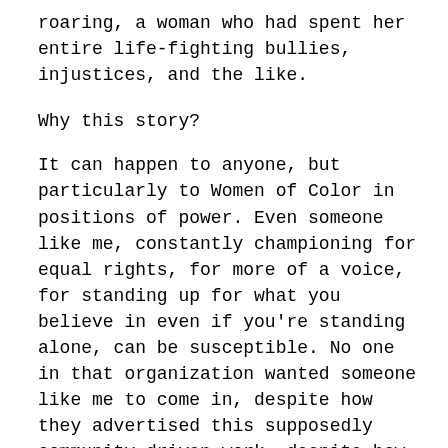roaring, a woman who had spent her entire life-fighting bullies, injustices, and the like.
Why this story?
It can happen to anyone, but particularly to Women of Color in positions of power. Even someone like me, constantly championing for equal rights, for more of a voice, for standing up for what you believe in even if you're standing alone, can be susceptible. No one in that organization wanted someone like me to come in, despite how they advertised this supposedly community-driven work, despite how open-minded and liberal they claimed to be.
My words of advice: if any of this resonated